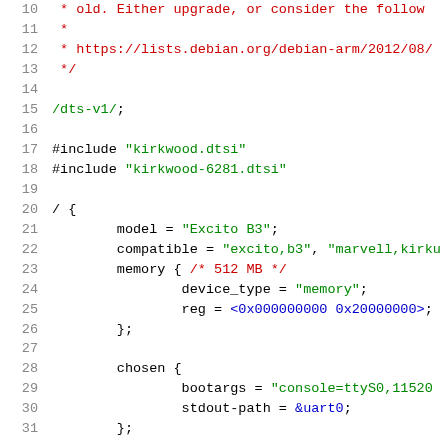Source code listing: Device Tree Source file (lines 10-31)